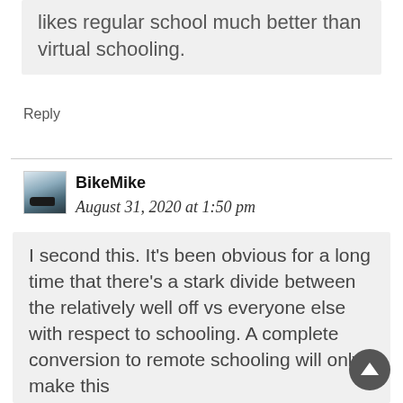likes regular school much better than virtual schooling.
Reply
BikeMike
August 31, 2020 at 1:50 pm
I second this. It's been obvious for a long time that there's a stark divide between the relatively well off vs everyone else with respect to schooling. A complete conversion to remote schooling will only make this